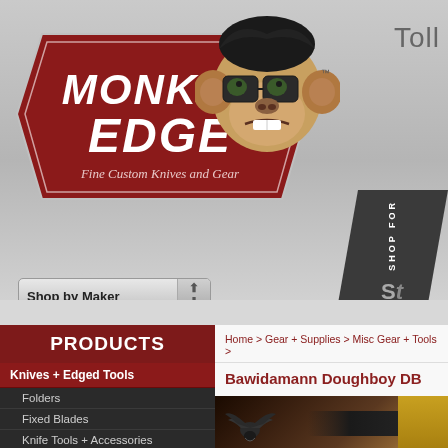[Figure (screenshot): Monkey Edge website screenshot showing logo with monkey mascot, navigation sidebar with Products/Knives/Gear sections, and Bawidamann Doughboy product page]
Toll
MONKEY EDGE Fine Custom Knives and Gear
Shop by Maker
PRODUCTS
Knives + Edged Tools
Folders
Fixed Blades
Knife Tools + Accessories
Gear + Supplies
Misc Gear + Tools
Pens + Writing Tools
Flashlights
Home > Gear + Supplies > Misc Gear + Tools >
Bawidamann Doughboy DB
[Figure (photo): Close-up photo of Bawidamann knife with logo on wooden surface]